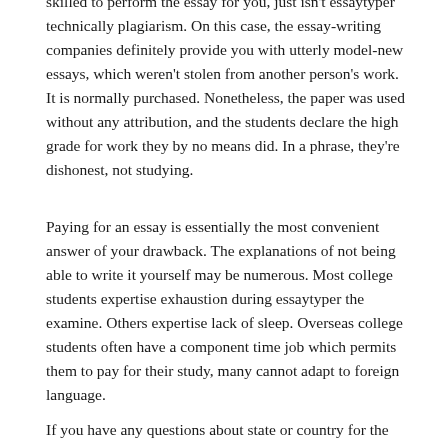skilled to perform the essay for you, just isn't essaytyper technically plagiarism. On this case, the essay-writing companies definitely provide you with utterly model-new essays, which weren't stolen from another person's work. It is normally purchased. Nonetheless, the paper was used without any attribution, and the students declare the high grade for work they by no means did. In a phrase, they're dishonest, not studying.
Paying for an essay is essentially the most convenient answer of your drawback. The explanations of not being able to write it yourself may be numerous. Most college students expertise exhaustion during essaytyper the examine. Others expertise lack of sleep. Overseas college students often have a component time job which permits them to pay for their study, many cannot adapt to foreign language.
If you have any questions about state or country for the